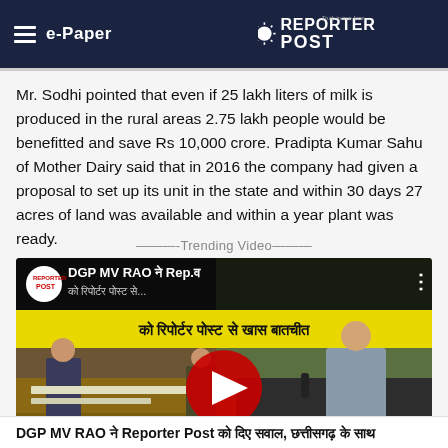e-Paper | Reporter Post
Mr. Sodhi pointed that even if 25 lakh liters of milk is produced in the rural areas 2.75 lakh people would be benefitted and save Rs 10,000 crore. Pradipta Kumar Sahu of Mother Dairy said that in 2016 the company had given a proposal to set up its unit in the state and within 30 days 27 acres of land was available and within a year plant was ready.
———-Trending Video———
[Figure (screenshot): YouTube video thumbnail showing DGP MV RAO interview with Reporter Post. Hindi text on yellow banner: 'को रिपोर्टर पोस्ट से खास बातचीत'. Red YouTube play button in center. Two men seated at a desk visible in lower portion.]
DGP MV RAO ने Reporter Post को दिए सवाल, छत्तीसगढ़ के साथ